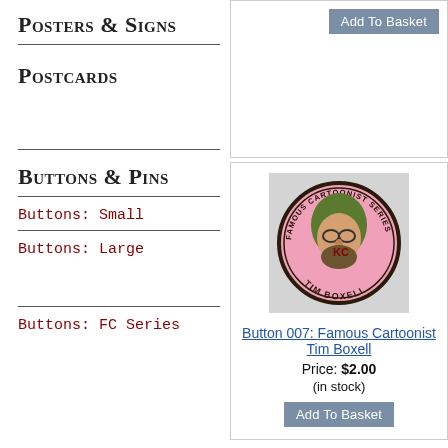Posters & Signs
Postcards
Buttons & Pins
Buttons: Small
Buttons: Large
Buttons: FC Series
[Figure (photo): Pink circular button/pin for Famous Cartoonist Series featuring Tim Boxell caricature]
Button 007: Famous Cartoonist Tim Boxell
Price: $2.00
(in stock)